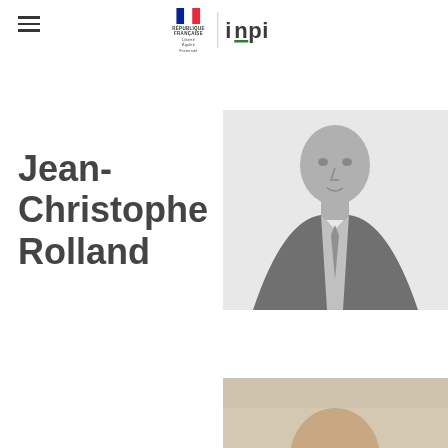INPI — Institut national de la propriété industrielle
Jean-Christophe Rolland
[Figure (photo): Black and white professional portrait photo of Jean-Christophe Rolland in a suit]
[Figure (photo): Partial photo of a second person, cropped at bottom of page]